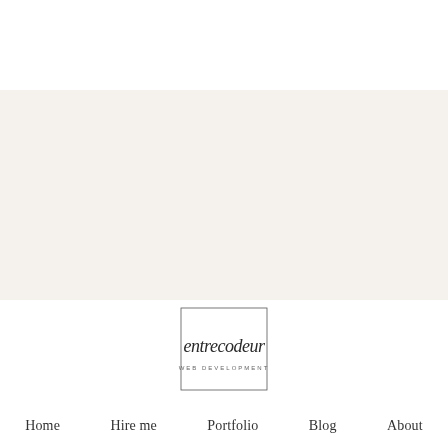[Figure (logo): entrecodeur web development logo — cursive script text 'entrecodeur' inside a thin rectangular border with 'WEB DEVELOPMENT' in small caps below]
Home   Hire me   Portfolio   Blog   About